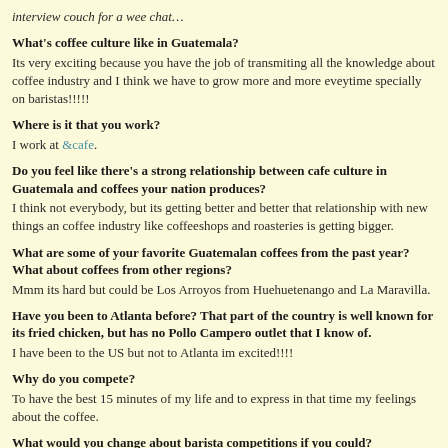interview couch for a wee chat…
What's coffee culture like in Guatemala?
Its very exciting because you have the job of transmiting all the knowledge about coffee industry and I think we have to grow more and more eveytime specially on baristas!!!!!
Where is it that you work?
I work at &cafe.
Do you feel like there's a strong relationship between cafe culture in Guatemala and coffees your nation produces?
I think not everybody, but its getting better and better that relationship with new things an coffee industry like coffeeshops and roasteries is getting bigger.
What are some of your favorite Guatemalan coffees from the past year? What about coffees from other regions?
Mmm its hard but could be Los Arroyos from Huehuetenango and La Maravilla.
Have you been to Atlanta before? That part of the country is well known for its fried chicken, but has no Pollo Campero outlet that I know of.
I have been to the US but not to Atlanta im excited!!!!
Why do you compete?
To have the best 15 minutes of my life and to express in that time my feelings about the coffee.
What would you change about barista competitions if you could?
To have more exchanges of baristas, to have more knowledge and coffee grown and to vis